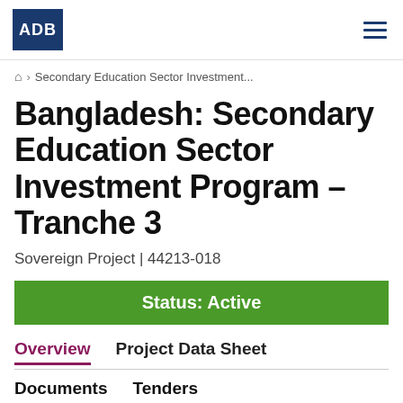ADB
🏠 › Secondary Education Sector Investment...
Bangladesh: Secondary Education Sector Investment Program – Tranche 3
Sovereign Project | 44213-018
Status: Active
Overview   Project Data Sheet
Documents   Tenders